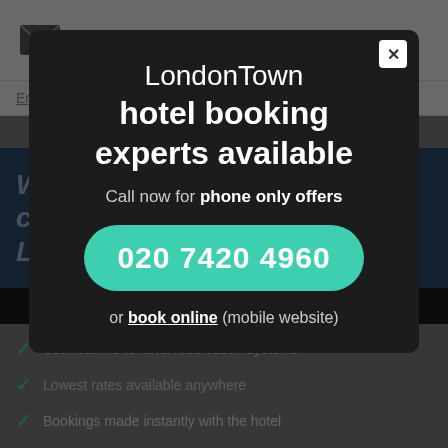[Figure (screenshot): Background page showing email icon, 'Email' text, a blue banner with italic text 'Why our customers love London T...', a dark bar, and a list of checkmark bullet points about hotel booking features.]
LondonTown hotel booking experts available
Call now for phone only offers
020 7420 4960
or book online (mobile website)